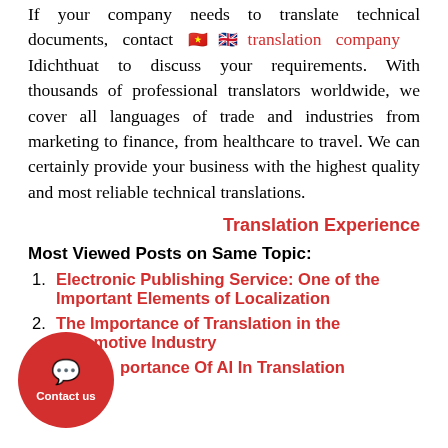If your company needs to translate technical documents, contact translation company Idichthuat to discuss your requirements. With thousands of professional translators worldwide, we cover all languages of trade and industries from marketing to finance, from healthcare to travel. We can certainly provide your business with the highest quality and most reliable technical translations.
Translation Experience
Most Viewed Posts on Same Topic:
Electronic Publishing Service: One of the Important Elements of Localization
The Importance of Translation in the Automotive Industry
The Importance Of AI In Translation